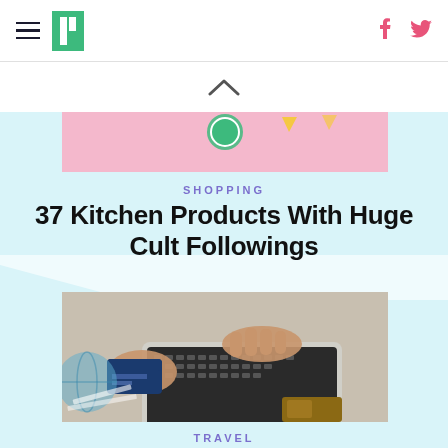HuffPost navigation header with hamburger menu, logo, Facebook and Twitter icons
[Figure (screenshot): Upward chevron/caret arrow icon indicating scroll up]
[Figure (photo): Top cropped image strip showing colorful kitchen products on pink background]
SHOPPING
37 Kitchen Products With Huge Cult Followings
[Figure (photo): Person holding a credit card and typing on a laptop keyboard, online shopping concept]
TRAVEL